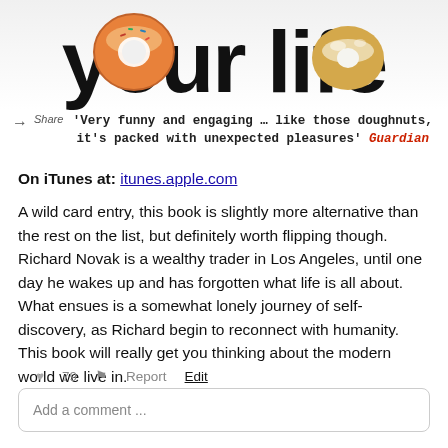[Figure (illustration): Top portion of a book cover showing large bold text 'your life' (partially cropped) with doughnut/pastry images on either side against a white background.]
'Very funny and engaging … like those doughnuts, it's packed with unexpected pleasures' Guardian
On iTunes at: itunes.apple.com
A wild card entry, this book is slightly more alternative than the rest on the list, but definitely worth flipping though. Richard Novak is a wealthy trader in Los Angeles, until one day he wakes up and has forgotten what life is all about. What ensues is a somewhat lonely journey of self-discovery, as Richard begin to reconnect with humanity. This book will really get you thinking about the modern world we live in.
♥ 79   Report   Edit
Add a comment ...